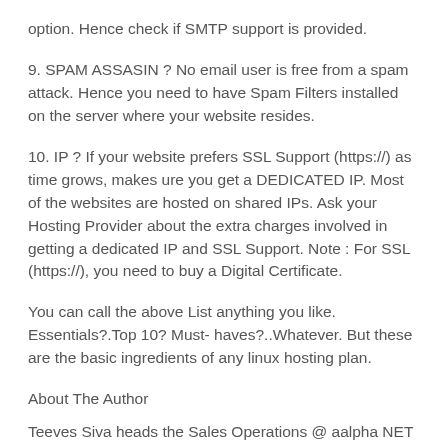option. Hence check if SMTP support is provided.
9. SPAM ASSASIN ? No email user is free from a spam attack. Hence you need to have Spam Filters installed on the server where your website resides.
10. IP ? If your website prefers SSL Support (https://) as time grows, makes ure you get a DEDICATED IP. Most of the websites are hosted on shared IPs. Ask your Hosting Provider about the extra charges involved in getting a dedicated IP and SSL Support. Note : For SSL (https://), you need to buy a Digital Certificate.
You can call the above List anything you like. Essentials?.Top 10? Must- haves?..Whatever. But these are the basic ingredients of any linux hosting plan.
About The Author
Teeves Siva heads the Sales Operations @ aalpha NET